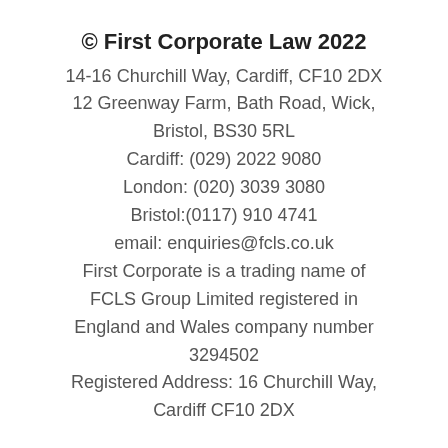© First Corporate Law 2022
14-16 Churchill Way, Cardiff, CF10 2DX
12 Greenway Farm, Bath Road, Wick,
Bristol, BS30 5RL
Cardiff: (029) 2022 9080
London: (020) 3039 3080
Bristol:(0117) 910 4741
email: enquiries@fcls.co.uk
First Corporate is a trading name of FCLS Group Limited registered in England and Wales company number 3294502
Registered Address: 16 Churchill Way, Cardiff CF10 2DX
login